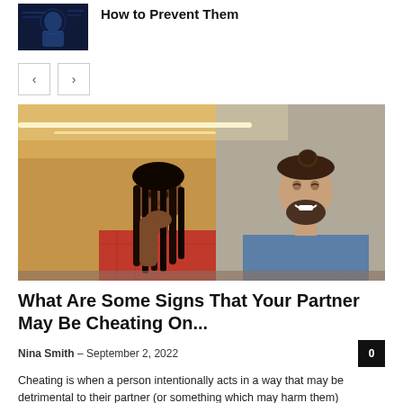[Figure (photo): Small thumbnail of a person with digital/tech background (dark blue tones)]
How to Prevent Them
[Figure (other): Navigation previous/next arrow buttons]
[Figure (photo): Couple sitting together; woman with long braids looks away pensively, man with bun hairstyle smiles looking down, warm brick/industrial background]
What Are Some Signs That Your Partner May Be Cheating On...
Nina Smith – September 2, 2022
Cheating is when a person intentionally acts in a way that may be detrimental to their partner (or something which may harm them)